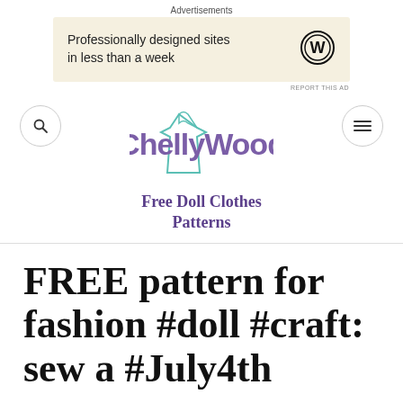Advertisements
[Figure (other): WordPress advertisement banner with text 'Professionally designed sites in less than a week' and WordPress logo]
REPORT THIS AD
[Figure (logo): ChellyWood logo — dress pattern outline in teal with 'ChellyWood' in purple and 'Free Doll Clothes Patterns' below, flanked by search and menu icons]
FREE pattern for fashion #doll #craft: sew a #July4th